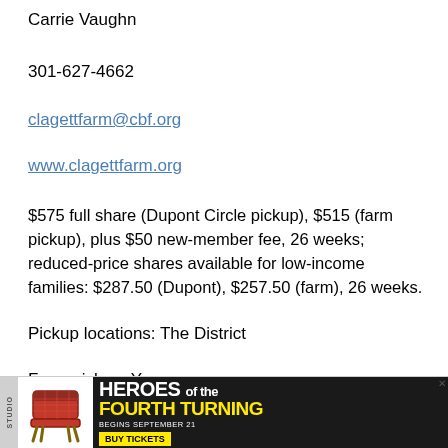Carrie Vaughn
301-627-4662
clagettfarm@cbf.org
www.clagettfarm.org
$575 full share (Dupont Circle pickup), $515 (farm pickup), plus $50 new-member fee, 26 weeks; reduced-price shares available for low-income families: $287.50 (Dupont), $257.50 (farm), 26 weeks.
Pickup locations: The District
Farm pickup: Yes
Colchester Farm CSA
[Figure (other): Advertisement banner for 'Heroes of the Fourth Turning' play, showing Studio logo, a chair illustration, show title in bold white and yellow text, 'Begins September 21' and 'Buy Tickets' button]